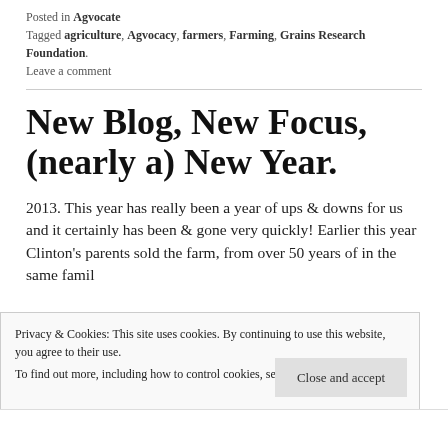Posted in Agvocate
Tagged agriculture, Agvocacy, farmers, Farming, Grains Research Foundation.
Leave a comment
New Blog, New Focus, (nearly a) New Year.
2013. This year has really been a year of ups & downs for us and it certainly has been & gone very quickly!  Earlier this year Clinton's parents sold the farm, from over 50 years of in the same family
Privacy & Cookies: This site uses cookies. By continuing to use this website, you agree to their use.
To find out more, including how to control cookies, see here: Cookie Policy